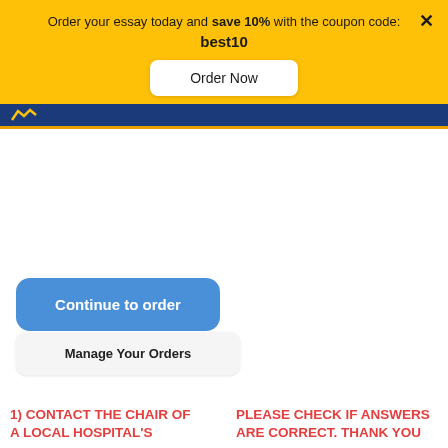Order your essay today and save 10% with the coupon code: best10
Order Now
Continue to order
Manage Your Orders
1) CONTACT THE CHAIR OF A LOCAL HOSPITAL'S
PLEASE CHECK IF ANSWERS ARE CORRECT. THANK YOU